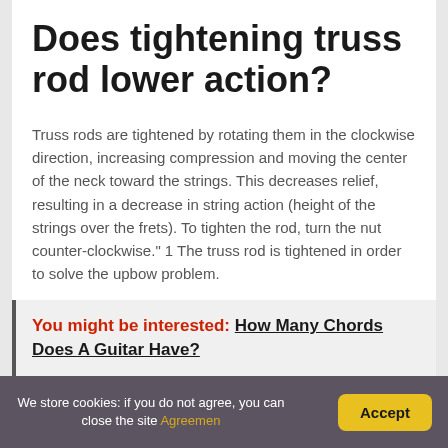Does tightening truss rod lower action?
Truss rods are tightened by rotating them in the clockwise direction, increasing compression and moving the center of the neck toward the strings. This decreases relief, resulting in a decrease in string action (height of the strings over the frets). To tighten the rod, turn the nut counter-clockwise." 1 The truss rod is tightened in order to solve the upbow problem.
You might be interested: How Many Chords Does A Guitar Have?
We store cookies: if you do not agree, you can close the site Agreemen